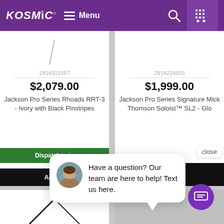[Figure (screenshot): Kosmic music store website header with purple background, logo, menu, search and cart icons]
2914311557
$2,079.00
Jackson Pro Series Rhoads RRT-3 - Ivory with Black Pinstripes
2914224503
$1,999.00
Jackson Pro Series Signature Mick Thomson Soloist™ SL2 - Glo
close
Dispatches in
Add to
Have a question? Our team are here to help! Text us here.